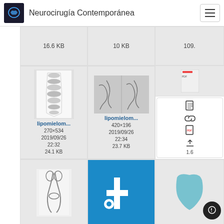Neurocirugía Contemporánea
16.6 KB
10 KB
109.
[Figure (screenshot): MRI spine sagittal image thumbnail]
lipomielom...
270×534
2019/09/26
22:32
24.1 KB
[Figure (screenshot): Cerebral angiography image thumbnail]
lipomielom...
420×196
2019/09/26
22:34
23.7 KB
lis
1.6
[Figure (photo): Surgical forceps instrument]
[Figure (screenshot): Blue background medical icon]
[Figure (photo): Teal medical device partially visible]